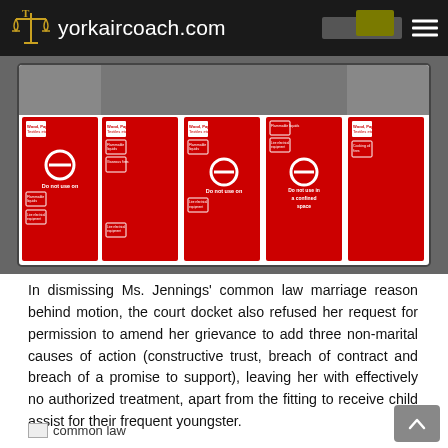yorkaircoach.com
[Figure (infographic): Grid of red fire extinguisher label panels showing different fire types and usage instructions. Panels include categories like Wood/Paper/Textiles, Flammable Liquids, Live electrical equipment, Gaseous fires, Cooking oil fires. Some panels say 'Do not use on' with certain fire types, and one says 'Do not use in a confined space'.]
In dismissing Ms. Jennings’ common law marriage reason behind motion, the court docket also refused her request for permission to amend her grievance to add three non-marital causes of action (constructive trust, breach of contract and breach of a promise to support), leaving her with effectively no authorized treatment, apart from the fitting to receive child assist for their frequent youngster.
common law